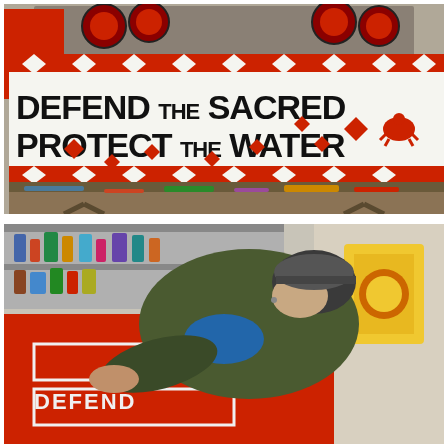[Figure (photo): Indoor photo of a large white banner with red geometric Indigenous designs reading 'DEFEND THE SACRED PROTECT THE WATER' in large black letters, held up by people in the background. On a paint-covered table in the foreground. Red and black decorative diamond/star patterns border the banner.]
[Figure (photo): Indoor photo of a person wearing a dark olive jacket and gray beanie cap, leaning over a red surface on the floor, working on stenciling or painting text that reads 'PROTECT DEFEND' in white letters. Background shows shelves with paint supplies.]